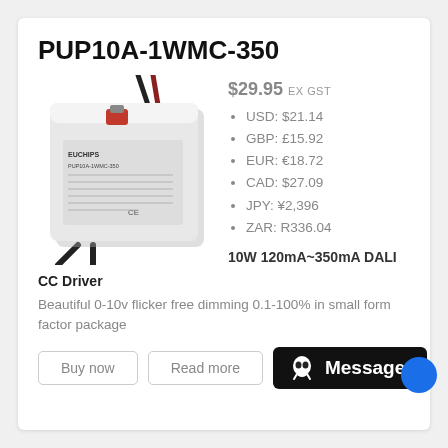PUP10A-1WMC-350
[Figure (photo): White rectangular LED driver/power supply unit with wires, branded EUCHIPS, model PUP10A-1WMC-350, with CE marking and red component visible on top]
$29.95 EX GST
USD: $21.14
GBP: £15.92
EUR: €18.72
CAD: $27.09
JPY: ¥2,396
ZAR: R336.04
10W 120mA~350mA DALI CC Driver
Beautiful 0-10v flicker free dimming 0.1-100% in small form factor package